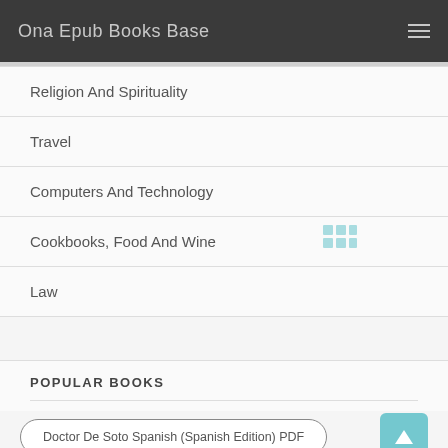Ona Epub Books Base
Religion And Spirituality
Travel
Computers And Technology
Cookbooks, Food And Wine
Law
POPULAR BOOKS
Doctor De Soto Spanish (Spanish Edition) PDF